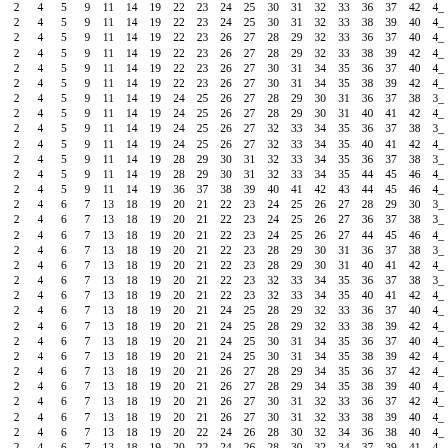| 2 | 4 | 5 | 9 | 11 | 14 | 19 | 22 | 23 | 24 | 25 | 30 | 31 | 32 | 33 | 36 | 37 | 42 | 4_ |
| 2 | 4 | 5 | 9 | 11 | 14 | 19 | 22 | 23 | 24 | 25 | 30 | 31 | 32 | 33 | 38 | 39 | 40 | 4_ |
| 2 | 4 | 5 | 9 | 11 | 14 | 19 | 22 | 23 | 26 | 27 | 28 | 29 | 32 | 33 | 36 | 37 | 40 | 4_ |
| 2 | 4 | 5 | 9 | 11 | 14 | 19 | 22 | 23 | 26 | 27 | 28 | 29 | 32 | 33 | 38 | 39 | 42 | 4_ |
| 2 | 4 | 5 | 9 | 11 | 14 | 19 | 22 | 23 | 26 | 27 | 30 | 31 | 34 | 35 | 36 | 37 | 40 | 4_ |
| 2 | 4 | 5 | 9 | 11 | 14 | 19 | 22 | 23 | 26 | 27 | 30 | 31 | 34 | 35 | 38 | 39 | 42 | 4_ |
| 2 | 4 | 5 | 9 | 11 | 14 | 19 | 24 | 25 | 26 | 27 | 28 | 29 | 30 | 31 | 36 | 37 | 38 | 3_ |
| 2 | 4 | 5 | 9 | 11 | 14 | 19 | 24 | 25 | 26 | 27 | 28 | 29 | 30 | 31 | 40 | 41 | 42 | 4_ |
| 2 | 4 | 5 | 9 | 11 | 14 | 19 | 24 | 25 | 26 | 27 | 32 | 33 | 34 | 35 | 36 | 37 | 38 | 3_ |
| 2 | 4 | 5 | 9 | 11 | 14 | 19 | 24 | 25 | 26 | 27 | 32 | 33 | 34 | 35 | 40 | 41 | 42 | 4_ |
| 2 | 4 | 5 | 9 | 11 | 14 | 19 | 28 | 29 | 30 | 31 | 32 | 33 | 34 | 35 | 36 | 37 | 38 | 3_ |
| 2 | 4 | 5 | 9 | 11 | 14 | 19 | 28 | 29 | 30 | 31 | 32 | 33 | 34 | 35 | 44 | 45 | 46 | 4_ |
| 2 | 4 | 5 | 9 | 11 | 14 | 19 | 36 | 37 | 38 | 39 | 40 | 41 | 42 | 43 | 44 | 45 | 46 | 4_ |
| 2 | 4 | 6 | 7 | 13 | 18 | 19 | 20 | 21 | 22 | 23 | 24 | 25 | 26 | 27 | 28 | 29 | 30 | 3_ |
| 2 | 4 | 6 | 7 | 13 | 18 | 19 | 20 | 21 | 22 | 23 | 24 | 25 | 26 | 27 | 36 | 37 | 38 | 3_ |
| 2 | 4 | 6 | 7 | 13 | 18 | 19 | 20 | 21 | 22 | 23 | 24 | 25 | 26 | 27 | 44 | 45 | 46 | 4_ |
| 2 | 4 | 6 | 7 | 13 | 18 | 19 | 20 | 21 | 22 | 23 | 28 | 29 | 30 | 31 | 36 | 37 | 38 | 3_ |
| 2 | 4 | 6 | 7 | 13 | 18 | 19 | 20 | 21 | 22 | 23 | 28 | 29 | 30 | 31 | 40 | 41 | 42 | 4_ |
| 2 | 4 | 6 | 7 | 13 | 18 | 19 | 20 | 21 | 22 | 23 | 32 | 33 | 34 | 35 | 36 | 37 | 38 | 3_ |
| 2 | 4 | 6 | 7 | 13 | 18 | 19 | 20 | 21 | 22 | 23 | 32 | 33 | 34 | 35 | 40 | 41 | 42 | 4_ |
| 2 | 4 | 6 | 7 | 13 | 18 | 19 | 20 | 21 | 24 | 25 | 28 | 29 | 32 | 33 | 36 | 37 | 40 | 4_ |
| 2 | 4 | 6 | 7 | 13 | 18 | 19 | 20 | 21 | 24 | 25 | 28 | 29 | 32 | 33 | 38 | 39 | 42 | 4_ |
| 2 | 4 | 6 | 7 | 13 | 18 | 19 | 20 | 21 | 24 | 25 | 30 | 31 | 34 | 35 | 36 | 37 | 40 | 4_ |
| 2 | 4 | 6 | 7 | 13 | 18 | 19 | 20 | 21 | 24 | 25 | 30 | 31 | 34 | 35 | 38 | 39 | 42 | 4_ |
| 2 | 4 | 6 | 7 | 13 | 18 | 19 | 20 | 21 | 26 | 27 | 28 | 29 | 34 | 35 | 36 | 37 | 42 | 4_ |
| 2 | 4 | 6 | 7 | 13 | 18 | 19 | 20 | 21 | 26 | 27 | 28 | 29 | 34 | 35 | 38 | 39 | 40 | 4_ |
| 2 | 4 | 6 | 7 | 13 | 18 | 19 | 20 | 21 | 26 | 27 | 30 | 31 | 32 | 33 | 36 | 37 | 42 | 4_ |
| 2 | 4 | 6 | 7 | 13 | 18 | 19 | 20 | 21 | 26 | 27 | 30 | 31 | 32 | 33 | 38 | 39 | 40 | 4_ |
| 2 | 4 | 6 | 7 | 13 | 18 | 19 | 20 | 22 | 24 | 26 | 28 | 30 | 32 | 34 | 36 | 38 | 40 | 4_ |
| 2 | 4 | 6 | 7 | 13 | 18 | 19 | 20 | 22 | 24 | 26 | 28 | 30 | 32 | 34 | 37 | 39 | 41 | 4_ |